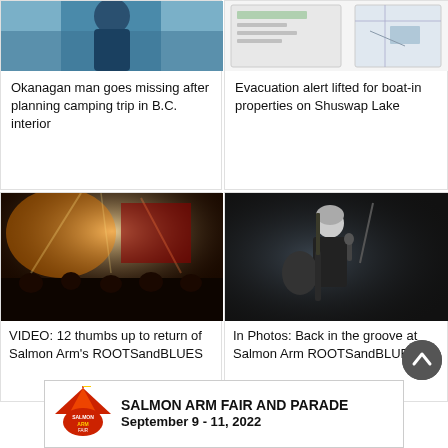[Figure (photo): Partial photo of a person outdoors, top of card]
Okanagan man goes missing after planning camping trip in B.C. interior
[Figure (photo): Small screenshot or map image related to evacuation alert]
Evacuation alert lifted for boat-in properties on Shuswap Lake
[Figure (photo): Concert crowd at night with stage lighting, Salmon Arm ROOTSandBLUES festival]
VIDEO: 12 thumbs up to return of Salmon Arm's ROOTSandBLUES
[Figure (photo): Performer with guitar on stage at Salmon Arm ROOTSandBLUES festival]
In Photos: Back in the groove at Salmon Arm ROOTSandBLUES
[Figure (infographic): Salmon Arm Fair and Parade advertisement banner, September 9-11, 2022]